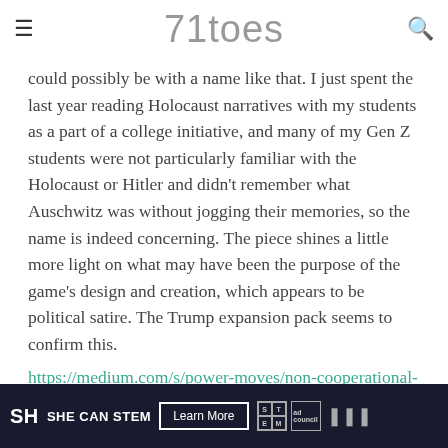71toes
could possibly be with a name like that. I just spent the last year reading Holocaust narratives with my students as a part of a college initiative, and many of my Gen Z students were not particularly familiar with the Holocaust or Hitler and didn't remember what Auschwitz was without jogging their memories, so the name is indeed concerning. The piece shines a little more light on what may have been the purpose of the game's design and creation, which appears to be political satire. The Trump expansion pack seems to confirm this.
https://medium.com/s/power-moves/non-cooperational-theory-13c5f1986c95
[Figure (other): Advertisement banner: SHE CAN STEM Learn More with STEM and Ad Council logos]